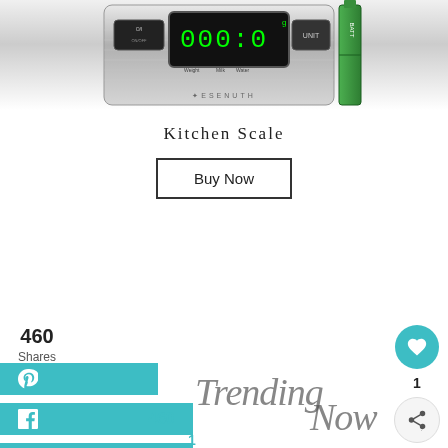[Figure (photo): Kitchen scale product photo showing a digital scale with LCD display, silver body, ON/OFF and UNIT buttons, with green batteries visible on the right side]
Kitchen Scale
Buy Now
460 Shares
[Figure (infographic): Trending Now section with social share buttons (Pinterest, Facebook, Instagram), share counts (460, 1), and a cursive 'Trending Now' text. Right side has heart icon with count 1 and a share icon.]